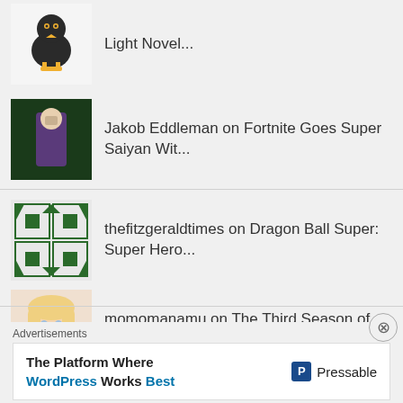Light Novel...
Jakob Eddleman on Fortnite Goes Super Saiyan Wit...
thefitzgeraldtimes on Dragon Ball Super: Super Hero...
momomanamu on The Third Season of the Welcom...
Lesley Aeschliman on Harvey Awards 2022 Announces M...
Advertisements
[Figure (infographic): Pressable advertisement: The Platform Where WordPress Works Best]